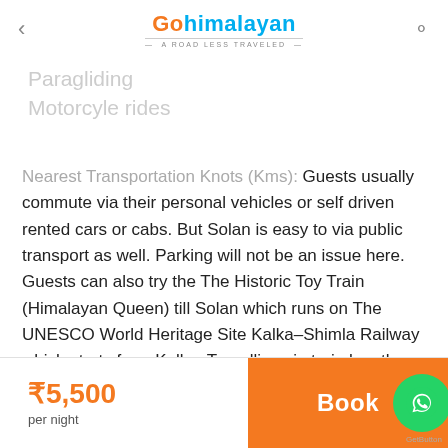GoHimalayan — A Road Less Traveled
Paragliding
Motorcyle rides
Nearest Transportation Knots (Kms): Guests usually commute via their personal vehicles or self driven rented cars or cabs. But Solan is easy to via public transport as well. Parking will not be an issue here. Guests can also try the The Historic Toy Train (Himalayan Queen) till Solan which runs on The UNESCO World Heritage Site Kalka–Shimla Railway which starts from Kalka. Travelling via train has the
₹5,500 per night
Book